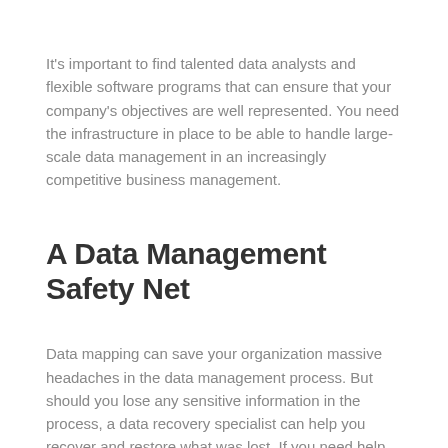It's important to find talented data analysts and flexible software programs that can ensure that your company's objectives are well represented. You need the infrastructure in place to be able to handle large-scale data management in an increasingly competitive business management.
A Data Management Safety Net
Data mapping can save your organization massive headaches in the data management process. But should you lose any sensitive information in the process, a data recovery specialist can help you recover and restore what was lost. If you need help with data recovery, contact us